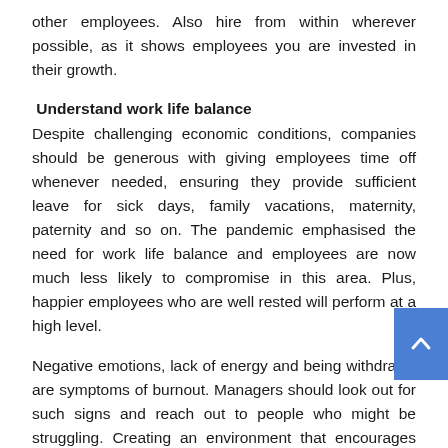other employees. Also hire from within wherever possible, as it shows employees you are invested in their growth.
Understand work life balance
Despite challenging economic conditions, companies should be generous with giving employees time off whenever needed, ensuring they provide sufficient leave for sick days, family vacations, maternity, paternity and so on. The pandemic emphasised the need for work life balance and employees are now much less likely to compromise in this area. Plus, happier employees who are well rested will perform at a high level.
Negative emotions, lack of energy and being withdrawn are symptoms of burnout. Managers should look out for such signs and reach out to people who might be struggling. Creating an environment that encourages employees to be able to have open communication with